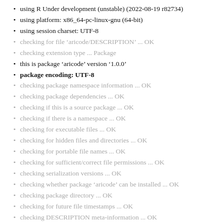using R Under development (unstable) (2022-08-19 r82734)
using platform: x86_64-pc-linux-gnu (64-bit)
using session charset: UTF-8
checking for file ‘aricode/DESCRIPTION’ ... OK
checking extension type ... Package
this is package ‘aricode’ version ‘1.0.0’
package encoding: UTF-8
checking package namespace information ... OK
checking package dependencies ... OK
checking if this is a source package ... OK
checking if there is a namespace ... OK
checking for executable files ... OK
checking for hidden files and directories ... OK
checking for portable file names ... OK
checking for sufficient/correct file permissions ... OK
checking serialization versions ... OK
checking whether package ‘aricode’ can be installed ... OK
checking package directory ... OK
checking for future file timestamps ... OK
checking DESCRIPTION meta-information ... OK
checking top-level files ... OK
checking for left-over files ... OK
checking index information ... OK
checking package subdirectories ... OK